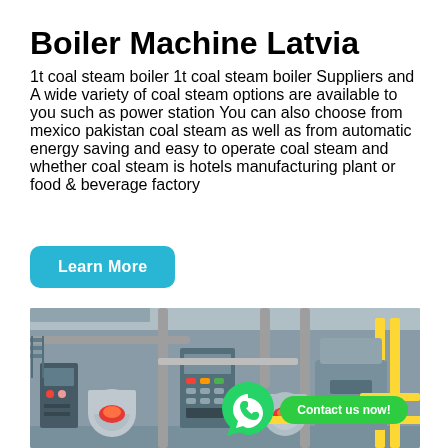Boiler Machine Latvia
1t coal steam boiler 1t coal steam boiler Suppliers and A wide variety of coal steam options are available to you such as power station You can also choose from mexico pakistan coal steam as well as from automatic energy saving and easy to operate coal steam and whether coal steam is hotels manufacturing plant or food & beverage factory
[Figure (other): Blue 'Learn More' button with rounded corners, followed by the word 'factory']
[Figure (photo): Industrial boiler room with multiple large cylindrical steam boilers, control panels, piping in silver and yellow, red burner components, in an industrial building interior. WhatsApp icon and 'Contact us now!' green button overlaid.]